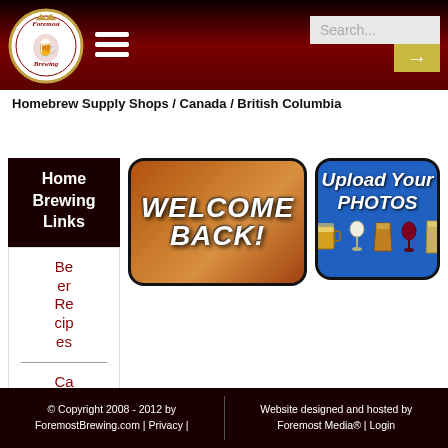[Figure (screenshot): Foremost Brewing website header with logo, hamburger menu icon, and search bar on dark red background]
Homebrew Supply Shops / Canada / British Columbia
Home Brewing Links
Beer Recipes
Ca
[Figure (illustration): WELCOME BACK! banner with orange/amber beer background and bold italic white text]
[Figure (illustration): Upload Your PHOTOS banner on blue background with beer glass icons]
© Copyright 2008 - 2012 by ForemostBrewing.com | Privacy | Website designed and hosted by Foremost Media® | Login